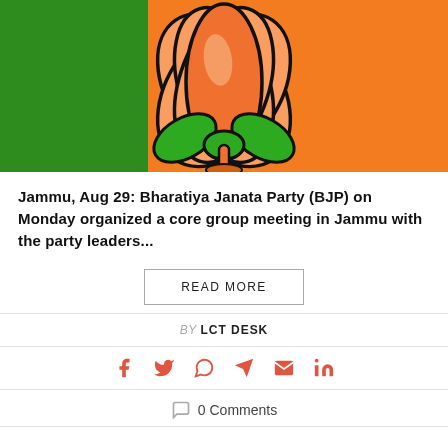[Figure (illustration): BJP (Bharatiya Janata Party) logo — orange and green background with a lotus flower symbol in orange and green with black outline]
Jammu, Aug 29: Bharatiya Janata Party (BJP) on Monday organized a core group meeting in Jammu with the party leaders...
READ MORE
BY LCT DESK
[Figure (infographic): Social share icons: Facebook, Twitter, WhatsApp, Telegram, Email, LinkedIn — all in coral/red color]
0 Comments